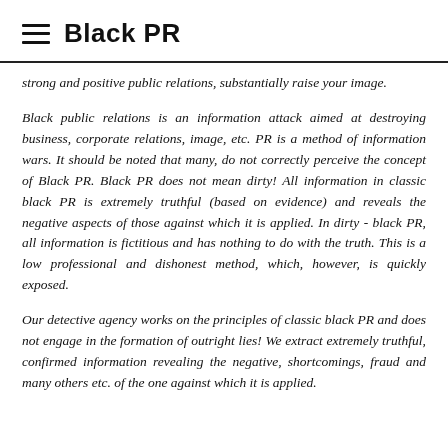Black PR
strong and positive public relations, substantially raise your image.
Black public relations is an information attack aimed at destroying business, corporate relations, image, etc. PR is a method of information wars. It should be noted that many, do not correctly perceive the concept of Black PR. Black PR does not mean dirty! All information in classic black PR is extremely truthful (based on evidence) and reveals the negative aspects of those against which it is applied. In dirty - black PR, all information is fictitious and has nothing to do with the truth. This is a low professional and dishonest method, which, however, is quickly exposed.
Our detective agency works on the principles of classic black PR and does not engage in the formation of outright lies! We extract extremely truthful, confirmed information revealing the negative, shortcomings, fraud and many others etc. of the one against which it is applied.